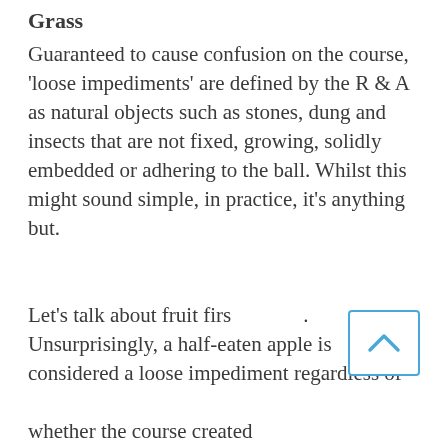Grass
Guaranteed to cause confusion on the course, 'loose impediments' are defined by the R & A as natural objects such as stones, dung and insects that are not fixed, growing, solidly embedded or adhering to the ball. Whilst this might sound simple, in practice, it's anything but.
Let's talk about fruit first. Unsurprisingly, a half-eaten apple is considered a loose impediment regardless of whether the course created